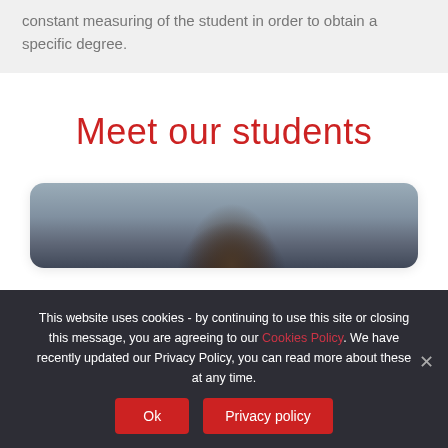constant measuring of the student in order to obtain a specific degree.
Meet our students
[Figure (photo): Student photo card with a person's face/head visible, with rounded card border]
This website uses cookies - by continuing to use this site or closing this message, you are agreeing to our Cookies Policy. We have recently updated our Privacy Policy, you can read more about these at any time.